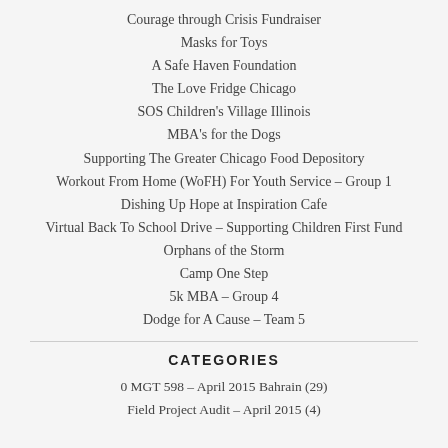Courage through Crisis Fundraiser
Masks for Toys
A Safe Haven Foundation
The Love Fridge Chicago
SOS Children's Village Illinois
MBA's for the Dogs
Supporting The Greater Chicago Food Depository
Workout From Home (WoFH) For Youth Service – Group 1
Dishing Up Hope at Inspiration Cafe
Virtual Back To School Drive – Supporting Children First Fund
Orphans of the Storm
Camp One Step
5k MBA – Group 4
Dodge for A Cause – Team 5
CATEGORIES
0 MGT 598 – April 2015 Bahrain (29)
Field Project Audit – April 2015 (4)